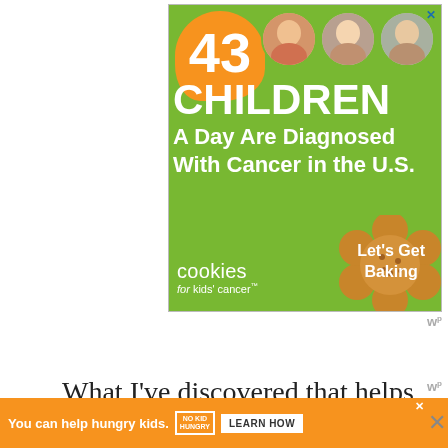[Figure (infographic): Advertisement banner for 'Cookies for Kids' Cancer' on a green background. Shows '43 CHILDREN A Day Are Diagnosed With Cancer in the U.S.' with three circular photos of children, an orange blob shape with the number 43, cookies for kids cancer logo, and a cookie image with text 'Let's Get Baking'. Close X button in top right corner.]
wᵖ
What I’ve discovered that helps
[Figure (infographic): Bottom advertisement bar in orange with text 'You can help hungry kids.' No Kid Hungry logo and 'LEARN HOW' button. Has close X button.]
wᵖ